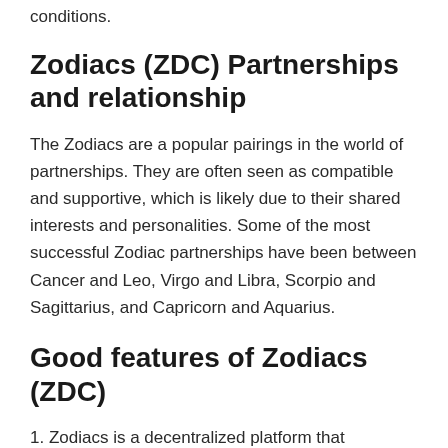conditions.
Zodiacs (ZDC) Partnerships and relationship
The Zodiacs are a popular pairings in the world of partnerships. They are often seen as compatible and supportive, which is likely due to their shared interests and personalities. Some of the most successful Zodiac partnerships have been between Cancer and Leo, Virgo and Libra, Scorpio and Sagittarius, and Capricorn and Aquarius.
Good features of Zodiacs (ZDC)
1. Zodiacs is a decentralized platform that